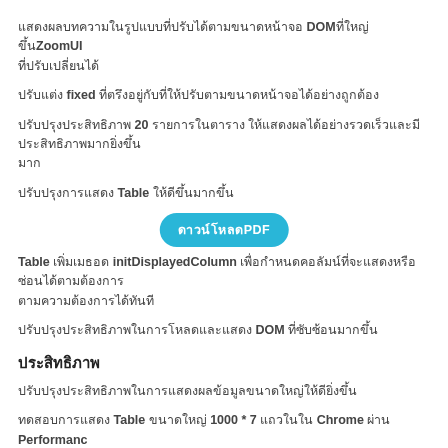แสดงผลบทความในรูปแบบที่ปรับได้ตามขนาดหน้าจอ DOM ที่ใหญ่ขึ้นZoomUI ที่ปรับเปลี่ยนได้
ปรับแต่ง fixed ที่ตรึงอยู่กับที่ให้ปรับตามขนาดหน้าจอได้อย่างถูกต้อง
ปรับปรุงประสิทธิภาพ 20 รายการในตาราง ให้แสดงผลได้อย่างรวดเร็วและมีประสิทธิภาพมากยิ่งขึ้น
ปรับปรุงการแสดง Table ให้ดีขึ้นมากขึ้น
[Figure (other): Blue rounded button labeled 'ดาวน์โหลดPDF']
Table เพิ่มเมธอด initDisplayedColumn เพื่อกำหนดคอลัมน์ที่จะแสดงหรือซ่อนได้ตามต้องการ
ปรับปรุงประสิทธิภาพในการโหลดและแสดง DOM ที่ซับซ้อนมากขึ้น
ประสิทธิภาพ
ปรับปรุงประสิทธิภาพในการแสดงผลข้อมูลขนาดใหญ่ให้ดียิ่งขึ้น
ทดสอบการแสดง Table ขนาดใหญ่ 1000 * 7 แถวในใน Chrome ผ่าน Performance ผ่าน checkbox ได้อย่างถูกต้อง
เพิ่ม checkbox ที่ถูกต้องมากขึ้น